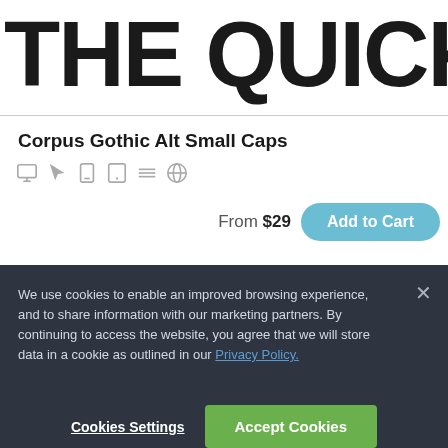THE QUICK B
Corpus Gothic Alt Small Caps
From $29
Add to Cart
We use cookies to enable an improved browsing experience, and to share information with our marketing partners. By continuing to access the website, you agree that we will store data in a cookie as outlined in our Privacy Policy.
Cookies Settings
Accept Cookies